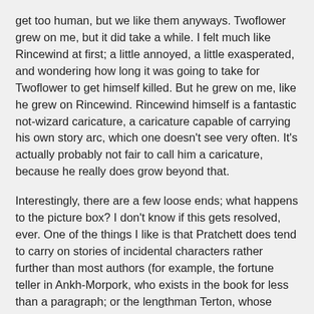get too human, but we like them anyways. Twoflower grew on me, but it did take a while. I felt much like Rincewind at first; a little annoyed, a little exasperated, and wondering how long it was going to take for Twoflower to get himself killed. But he grew on me, like he grew on Rincewind. Rincewind himself is a fantastic not-wizard caricature, a caricature capable of carrying his own story arc, which one doesn't see very often. It's actually probably not fair to call him a caricature, because he really does grow beyond that.
Interestingly, there are a few loose ends; what happens to the picture box? I don't know if this gets resolved, ever. One of the things I like is that Pratchett does tend to carry on stories of incidental characters rather further than most authors (for example, the fortune teller in Ankh-Morpork, who exists in the book for less than a paragraph; or the lengthman Terton, whose house is destroyed by the Luggage -- we know what happens to them). So I wonder if the picture box was an oversight. It really is very minor, although the picture box itself does play a rather important role in a number of ways.